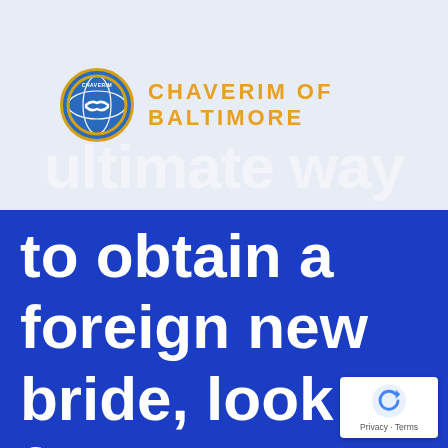[Figure (logo): Chaverim of Baltimore logo with circular globe/hands icon]
CHAVERIM OF BALTIMORE
ultimate way
to obtain a foreign new bride, look for
[Figure (other): reCAPTCHA badge with Privacy and Terms links]